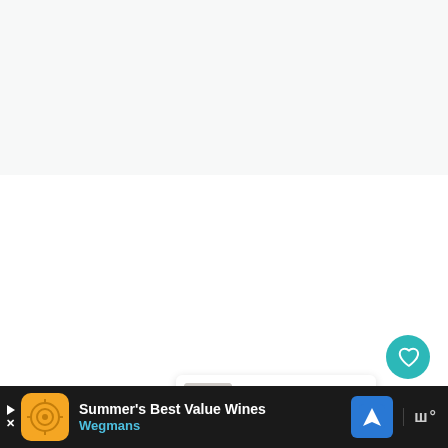[Figure (screenshot): Top light gray section of a webpage — blank content area]
[Figure (screenshot): White blank webpage content area with social action buttons: a teal heart/like button, a count of 3, and a share button (circle with share icon)]
3
[Figure (screenshot): "What's Next" recommendation card showing a rabbit thumbnail, label "WHAT'S NEXT →" and title "Adopt a rabbit in Michigan"]
WHAT'S NEXT → Adopt a rabbit in Michigan
[Figure (screenshot): Bottom advertisement bar on dark background: Wegmans ad reading "Summer's Best Value Wines" with Wegmans branding, a navigation icon, and a music/brand icon on the right]
Summer's Best Value Wines Wegmans